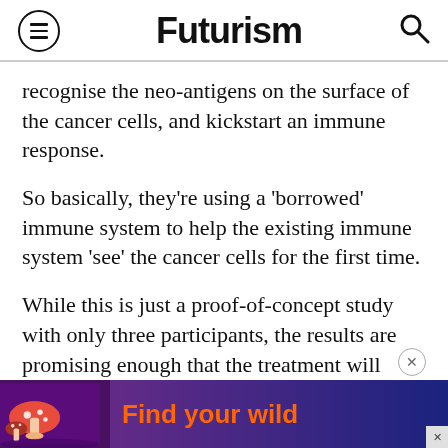Futurism
recognise the neo-antigens on the surface of the cancer cells, and kickstart an immune response.
So basically, they're using a 'borrowed' immune system to help the existing immune system 'see' the cancer cells for the first time.
While this is just a proof-of-concept study with only three participants, the results are promising enough that the treatment will hopefully be tested in a much wider clinical study in the future.
[Figure (screenshot): Advertisement banner reading 'Find your wild' with mushroom imagery on a purple background]